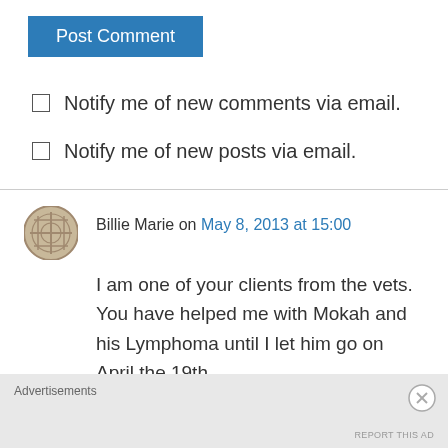Post Comment
Notify me of new comments via email.
Notify me of new posts via email.
Billie Marie on May 8, 2013 at 15:00
I am one of your clients from the vets. You have helped me with Mokah and his Lymphoma until I let him go on April the 19th.

In your search for faith I have found you do not have to search for it-faith will find you if you let
Advertisements